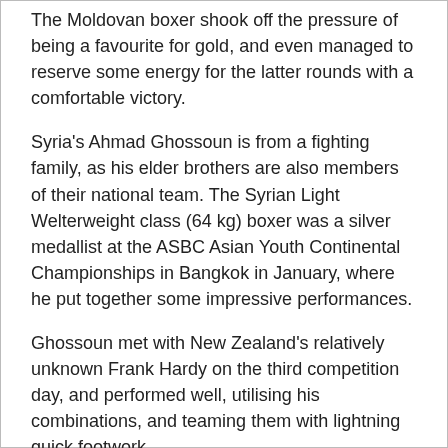The Moldovan boxer shook off the pressure of being a favourite for gold, and even managed to reserve some energy for the latter rounds with a comfortable victory.
Syria's Ahmad Ghossoun is from a fighting family, as his elder brothers are also members of their national team. The Syrian Light Welterweight class (64 kg) boxer was a silver medallist at the ASBC Asian Youth Continental Championships in Bangkok in January, where he put together some impressive performances.
Ghossoun met with New Zealand's relatively unknown Frank Hardy on the third competition day, and performed well, utilising his combinations, and teaming them with lightning quick footwork.
The Kiwi boxer could not find an answer to the accuracy and speed, ensuring Ghossoun's win via unanimous decision.
Surprise of the day
Vietnam's two-time Junior National Champion Dang Anh Thinh trains in the port of Haiphong, and arrived in Sofia with little